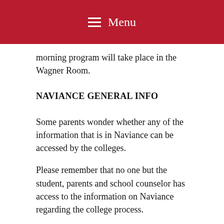Menu
morning program will take place in the Wagner Room.
NAVIANCE GENERAL INFO
Some parents wonder whether any of the information that is in Naviance can be accessed by the colleges.
Please remember that no one but the student, parents and school counselor has access to the information on Naviance regarding the college process.